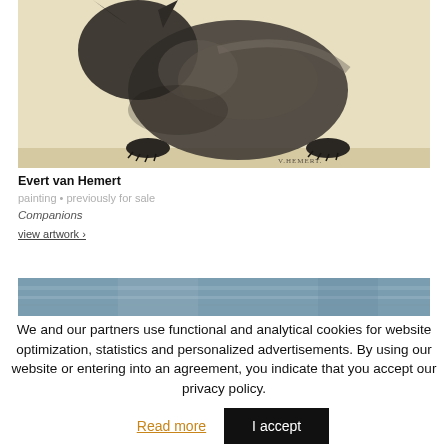[Figure (illustration): Painting of a dark animal (cat or dog) on a beige/cream background, signed 'v.Hemert' at the bottom. The artwork shows the animal's body from mid-section, with visible paws.]
Evert van Hemert
painting • previously for sale
Companions
view artwork >
[Figure (illustration): Partial view of another painting — a horizontal blue-gray band visible at top.]
We and our partners use functional and analytical cookies for website optimization, statistics and personalized advertisements. By using our website or entering into an agreement, you indicate that you accept our privacy policy.
Read more
I accept